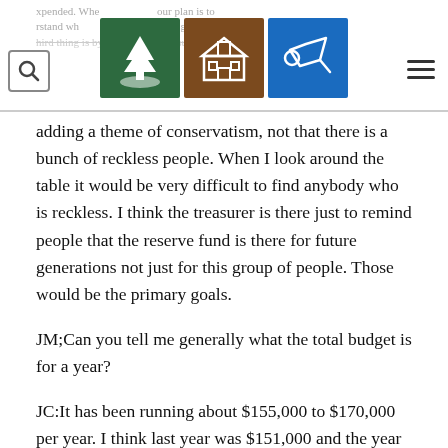Navigation header with search icon, three logo icons (green tree/hill, brown schoolhouse, blue bell/horn), and hamburger menu
expended. When our plan is to understand why, I guess the third thing is by having a treasurer is adding a theme of conservatism, not that there is a bunch of reckless people. When I look around the table it would be very difficult to find anybody who is reckless. I think the treasurer is there just to remind people that the reserve fund is there for future generations not just for this group of people. Those would be the primary goals.
JM;Can you tell me generally what the total budget is for a year?
JC:It has been running about $155,000 to $170,000 per year. I think last year was $151,000 and the year before that was $144,000. I think that is right within $5,000.